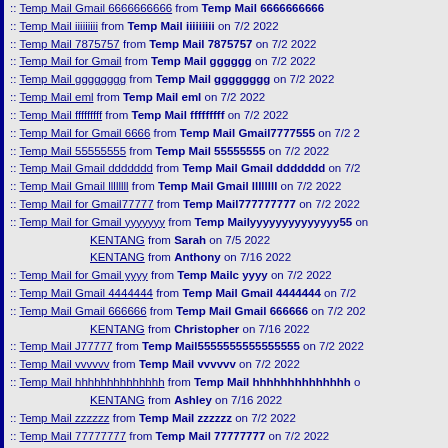:: Temp Mail Gmail 6666666666 from Temp Mail 6666666666
:: Temp Mail iiiiiiiii from Temp Mail iiiiiiiii on 7/2 2022
:: Temp Mail 7875757 from Temp Mail 7875757 on 7/2 2022
:: Temp Mail for Gmail from Temp Mail gggggg on 7/2 2022
:: Temp Mail gggggggg from Temp Mail gggggggg on 7/2 2022
:: Temp Mail eml from Temp Mail eml on 7/2 2022
:: Temp Mail fffffffff from Temp Mail fffffffff on 7/2 2022
:: Temp Mail for Gmail 6666 from Temp Mail Gmail7777555 on 7/2 2
:: Temp Mail 55555555 from Temp Mail 55555555 on 7/2 2022
:: Temp Mail Gmail ddddddd from Temp Mail Gmail ddddddd on 7/2
:: Temp Mail Gmail llllllll from Temp Mail Gmail llllllll on 7/2 2022
:: Temp Mail for Gmail77777 from Temp Mail777777777 on 7/2 2022
:: Temp Mail for Gmail yyyyyyy from Temp Mailyyyyyyyyyyyyyy55 on
KENTANG from Sarah on 7/5 2022
KENTANG from Anthony on 7/16 2022
:: Temp Mail for Gmail yyyy from Temp Mailc yyyy on 7/2 2022
:: Temp Mail Gmail 4444444 from Temp Mail Gmail 4444444 on 7/2
:: Temp Mail Gmail 666666 from Temp Mail Gmail 666666 on 7/2 202
KENTANG from Christopher on 7/16 2022
:: Temp Mail J77777 from Temp Mail5555555555555555 on 7/2 2022
:: Temp Mail vvvvvv from Temp Mail vvvvvv on 7/2 2022
:: Temp Mail hhhhhhhhhhhhhh from Temp Mail hhhhhhhhhhhhhh o
KENTANG from Ashley on 7/16 2022
:: Temp Mail zzzzzz from Temp Mail zzzzzz on 7/2 2022
:: Temp Mail 77777777 from Temp Mail 77777777 on 7/2 2022
KENTANG from Jeffrey on 7/16 2022
KENTANG from Brandon on 7/16 2022
:: call girls in lahore from bilal bilalkhan on 7/2 2022
:: Temp Mail for Gmail from Temp Mail hhhhhhhh on 7/2 2022
:: 4444444444 from vvvvvvvvvv on 7/2 2022